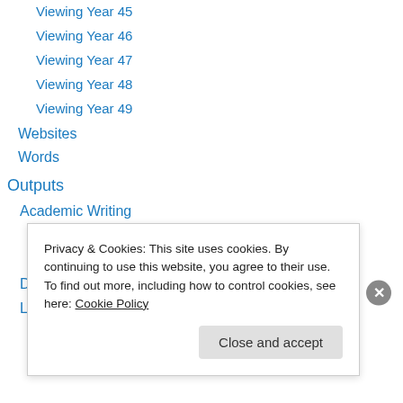Viewing Year 45
Viewing Year 46
Viewing Year 47
Viewing Year 48
Viewing Year 49
Websites
Words
Outputs
Academic Writing
DSM-5 age requirements
DSM-5 timeline requirements
Driving
Landfill
Privacy & Cookies: This site uses cookies. By continuing to use this website, you agree to their use. To find out more, including how to control cookies, see here: Cookie Policy